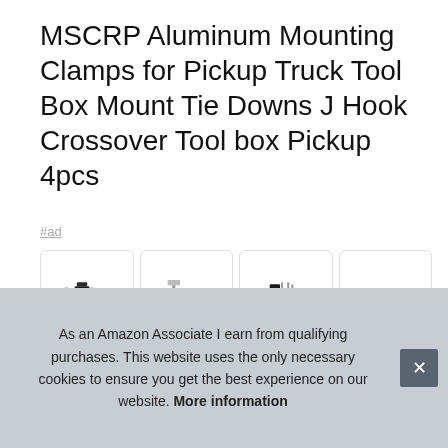MSCRP Aluminum Mounting Clamps for Pickup Truck Tool Box Mount Tie Downs J Hook Crossover Tool box Pickup 4pcs
#ad
[Figure (photo): Four thumbnail product images showing aluminum mounting clamps, hardware components, clamp sets with bolts and washers, and an installation diagram for pickup truck tool box.]
Wn...
Size
3-5/
As an Amazon Associate I earn from qualifying purchases. This website uses the only necessary cookies to ensure you get the best experience on our website. More information